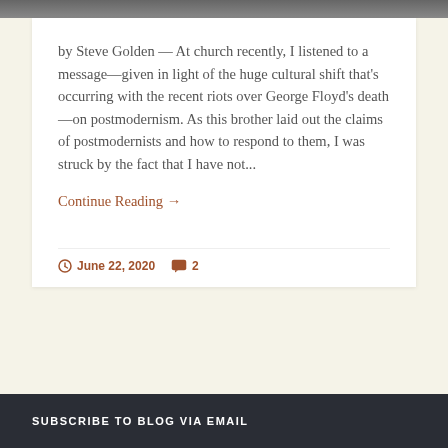[Figure (photo): Top portion of a photograph visible at the very top of the page]
by Steve Golden — At church recently, I listened to a message—given in light of the huge cultural shift that's occurring with the recent riots over George Floyd's death—on postmodernism. As this brother laid out the claims of postmodernists and how to respond to them, I was struck by the fact that I have not...
Continue Reading →
June 22, 2020  2
SUBSCRIBE TO BLOG VIA EMAIL